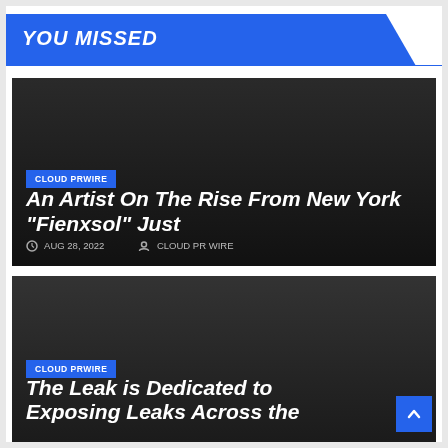YOU MISSED
[Figure (screenshot): Dark article card with 'CLOUD PRWIRE' badge label]
An Artist On The Rise From New York “Fienxsol” Just
AUG 28, 2022   CLOUD PR WIRE
[Figure (screenshot): Dark article card with 'CLOUD PRWIRE' badge label]
The Leak is Dedicated to Exposing Leaks Across the